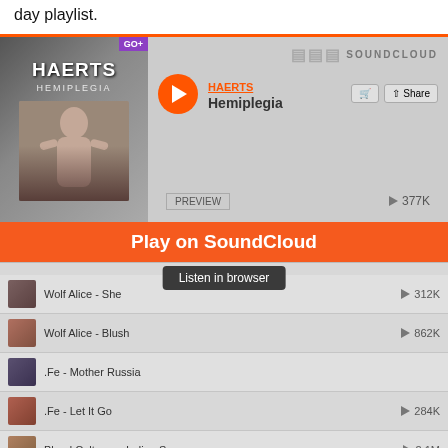day playlist.
[Figure (screenshot): SoundCloud embedded player showing HAERTS - Hemiplegia with album art, play button, share controls, preview button, play count 377K, and a playlist of tracks including Wolf Alice - She (312K), Wolf Alice - Blush (862K), .Fe - Mother Russia, .Fe - Let It Go (284K), Blood Cultures - Indian Summer (2.1M), Say Lou Lou - Feels Like We Only Go Backwards. Overlay showing 'Play on SoundCloud' orange button and 'Listen in browser' tooltip.]